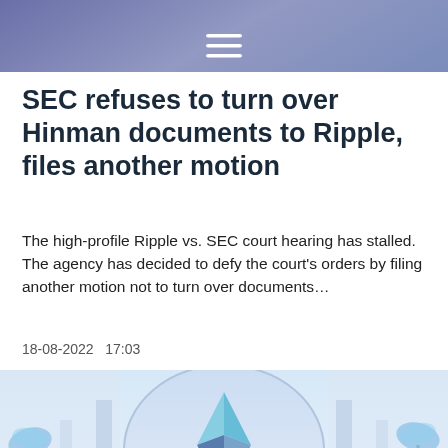≡
SEC refuses to turn over Hinman documents to Ripple, files another motion
The high-profile Ripple vs. SEC court hearing has stalled. The agency has decided to defy the court's orders by filing another motion not to turn over documents…
18-08-2022   17:03
[Figure (illustration): Illustration of the Ethereum diamond logo centered in an arched architectural setting with palm trees and stylized figures of people on both sides, rendered in pastel blue, purple and lavender tones.]